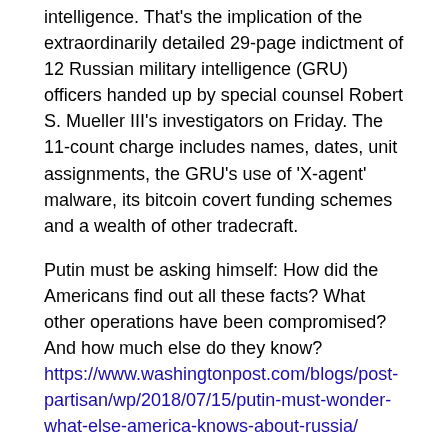intelligence. That's the implication of the extraordinarily detailed 29-page indictment of 12 Russian military intelligence (GRU) officers handed up by special counsel Robert S. Mueller III's investigators on Friday. The 11-count charge includes names, dates, unit assignments, the GRU's use of 'X-agent' malware, its bitcoin covert funding schemes and a wealth of other tradecraft.
Putin must be asking himself: How did the Americans find out all these facts? What other operations have been compromised? And how much else do they know? https://www.washingtonpost.com/blogs/post-partisan/wp/2018/07/15/putin-must-wonder-what-else-america-knows-about-russia/
19. Japan, EU sign trade deal to eliminate nearly all tariffs
The European Union and Japan signed a landmark deal on Tuesday that will eliminate nearly all tariffs on products they trade.